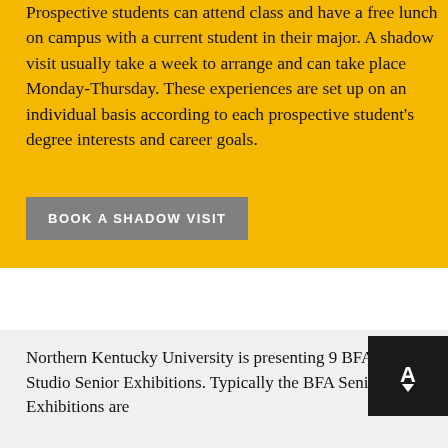Prospective students can attend class and have a free lunch on campus with a current student in their major. A shadow visit usually take a week to arrange and can take place Monday-Thursday. These experiences are set up on an individual basis according to each prospective student's degree interests and career goals.
BOOK A SHADOW VISIT
Northern Kentucky University is presenting 9 BFA Visual Arts Studio Senior Exhibitions. Typically the BFA Senior Exhibitions are